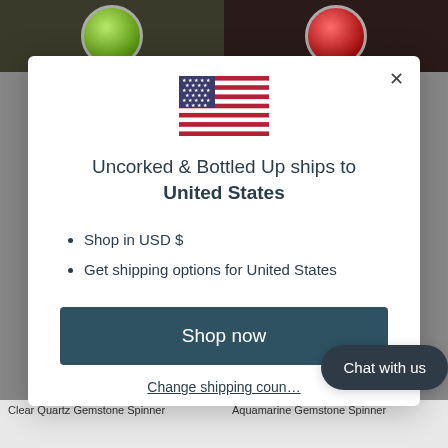[Figure (screenshot): Background showing top portion of product images (green gemstone spinner and red gemstone spinner in glass containers on dark wood)]
[Figure (screenshot): Modal dialog: US flag SVG, shipping destination text, bullet list, Shop now button, Change shipping country link, Chat with us button]
Uncorked & Bottled Up ships to United States
Shop in USD $
Get shipping options for United States
Shop now
Change shipping country
Chat with us
Clear Quartz Gemstone Spinner
Aquamarine Gemstone Spinner